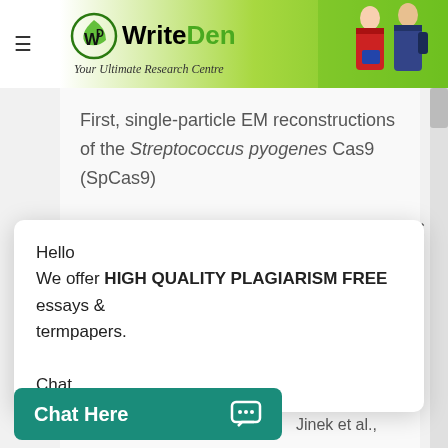[Figure (logo): WriteDen logo — WD icon with green leaf, WriteDen text, tagline 'Your Ultimate Research Centre', with students photo on green gradient background]
First, single-particle EM reconstructions of the Streptococcus pyogenes Cas9 (SpCas9) revealed a large structural rearrangement
Hello
We offer HIGH QUALITY PLAGIARISM FREE essays & termpapers.

Chat...
the
Jinek et al.,